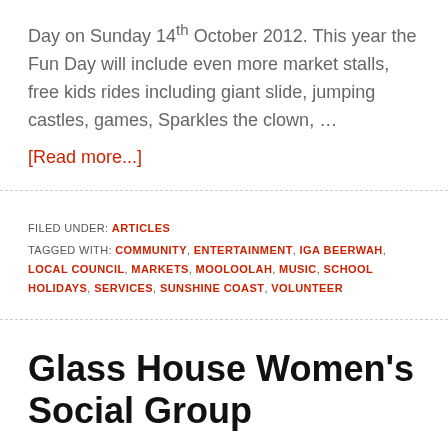Day on Sunday 14th October 2012. This year the Fun Day will include even more market stalls, free kids rides including giant slide, jumping castles, games, Sparkles the clown, … [Read more...]
FILED UNDER: ARTICLES
TAGGED WITH: COMMUNITY, ENTERTAINMENT, IGA BEERWAH, LOCAL COUNCIL, MARKETS, MOOLOOLAH, MUSIC, SCHOOL HOLIDAYS, SERVICES, SUNSHINE COAST, VOLUNTEER
Glass House Women's Social Group